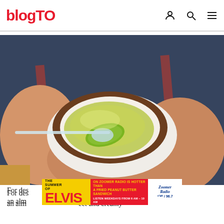blogTO
[Figure (photo): Close-up photo of a person in a blue and red striped shirt holding a small ceramic bowl with a brown rim containing a green liquid (likely matcha or green tea sauce), being stirred with a clear glass spoon.]
[Figure (other): Advertisement banner for ELVIS on Zoomer Radio: 'THE SUMMER OF ELVIS ON ZOOMER RADIO IS HOTTER THAN A FRIED PEANUT BUTTER SANDWICH. LISTEN WEEKDAYS FROM 6 AM – 10 AM' with Zoomer Radio logo showing 740 / 96.7.]
For des…ry. It's an alm… …eet and creamy